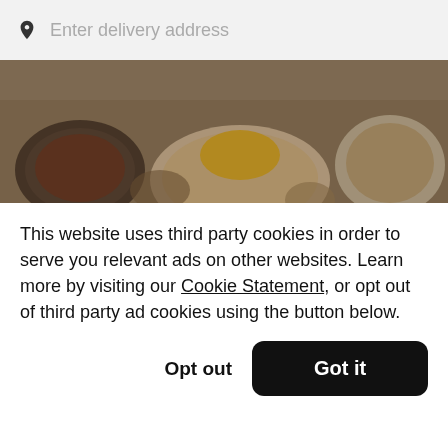Enter delivery address
[Figure (photo): Overhead view of Colombian food dishes on a wooden table]
La Fonda Antioquena
New
$$
[Figure (photo): Partial view of a second restaurant food photo]
This website uses third party cookies in order to serve you relevant ads on other websites. Learn more by visiting our Cookie Statement, or opt out of third party ad cookies using the button below.